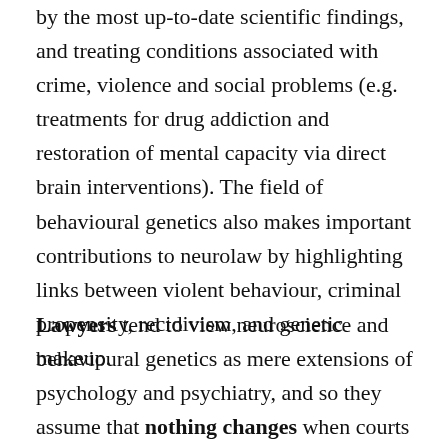by the most up-to-date scientific findings, and treating conditions associated with crime, violence and social problems (e.g. treatments for drug addiction and restoration of mental capacity via direct brain interventions). The field of behavioural genetics also makes important contributions to neurolaw by highlighting links between violent behaviour, criminal propensity, recidivism, and genetic makeup.
Lawyers tend to view neuroscience and behavioural genetics as mere extensions of psychology and psychiatry, and so they assume that nothing changes when courts start accepting neuroscientific and behavioural genetics evidence, testimony and solutions, in place of similar input from psychologists